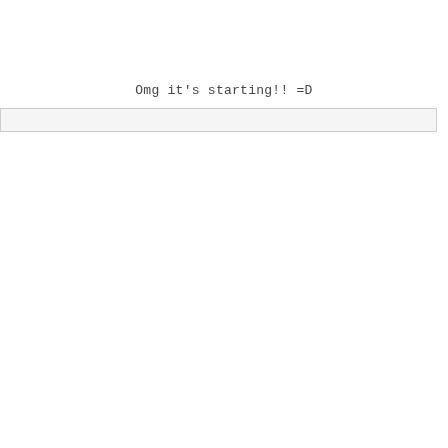Omg it's starting!! =D
[Figure (other): An empty progress bar UI element — a rectangular outlined box with light gray fill, spanning nearly the full width of the page.]